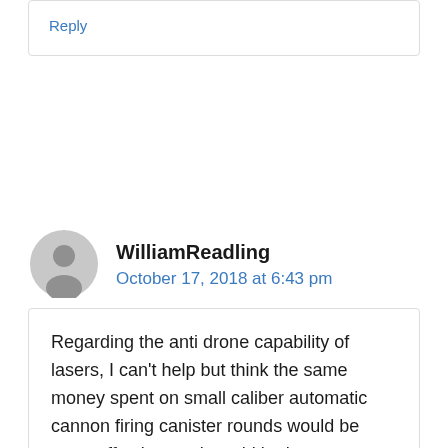Reply
WilliamReadling
October 17, 2018 at 6:43 pm
Regarding the anti drone capability of lasers, I can't help but think the same money spent on small caliber automatic cannon firing canister rounds would be more effective, and would be less susceptible to countermeasures like reflective